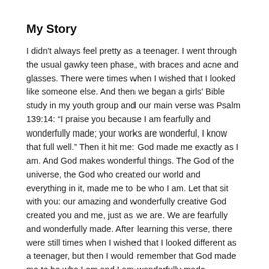My Story
I didn't always feel pretty as a teenager. I went through the usual gawky teen phase, with braces and acne and glasses. There were times when I wished that I looked like someone else. And then we began a girls' Bible study in my youth group and our main verse was Psalm 139:14: “I praise you because I am fearfully and wonderfully made; your works are wonderful, I know that full well.” Then it hit me: God made me exactly as I am. And God makes wonderful things. The God of the universe, the God who created our world and everything in it, made me to be who I am. Let that sit with you: our amazing and wonderfully creative God created you and me, just as we are. We are fearfully and wonderfully made. After learning this verse, there were still times when I wished that I looked different as a teenager, but then I would remember that God made me to be who I am and I am wonderfully made.
Your Story